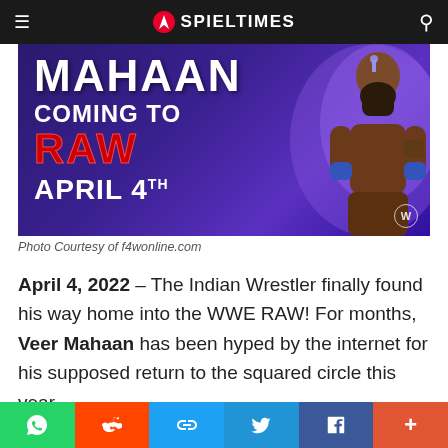SPIELTIMES
[Figure (photo): WWE promotional image: MAHAAN COMING TO RAW APRIL 4TH with Indian wrestler in purple lighting]
Photo Courtesy of f4wonline.com
April 4, 2022 – The Indian Wrestler finally found his way home into the WWE RAW! For months, Veer Mahaan has been hyped by the internet for his supposed return to the squared circle this year.